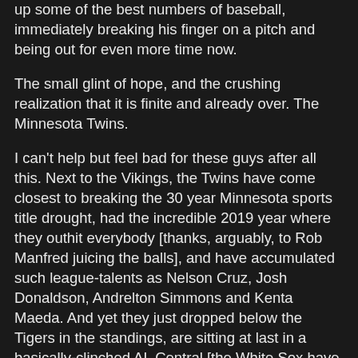up some of the best numbers of baseball, immediately breaking his finger on a pitch and being out for even more time now.
The small glint of hope, and the crushing realization that it is finite and already over. The Minnesota Twins.
I can't help but feel bad for these guys after all this. Next to the Vikings, the Twins have come closest to breaking the 30 year Minnesota sports title drought, had the incredible 2019 year where they outhit everybody [thanks, arguably, to Rob Manfred juicing the balls], and have accumulated such league-talents as Nelson Cruz, Josh Donaldson, Andrelton Simmons and Kenta Maeda. And yet they just dropped below the Tigers in the standings, are sitting at last in a basically-clinched AL Central [the White Sox have it, and by it, I mean a healthy starting rotation, Cleveland], and just lost Byron Buxton again.
What's there left to do but shake one's head?
The Twins this season have had to rush to build their team around new callups like Trevor Larnach, Ben Rodtvedt, Alex